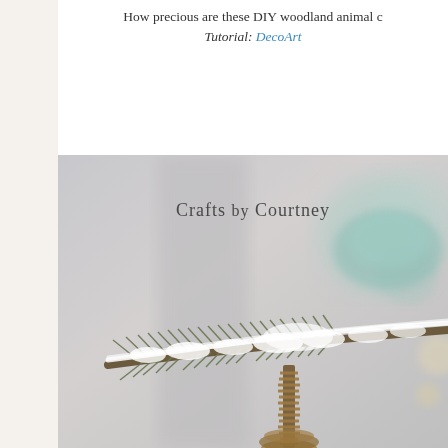How precious are these DIY woodland animal c...
Tutorial: DecoArt
[Figure (photo): A frost-covered pine branch with twine wrapped base, blurred background with soft bokeh showing teal/mint ornament and lights. Watermark reads 'Crafts by Courtney'.]